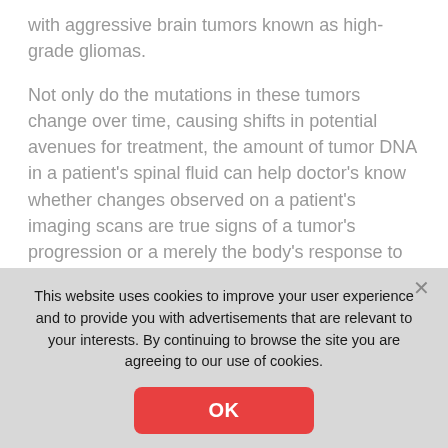with aggressive brain tumors known as high-grade gliomas.
Not only do the mutations in these tumors change over time, causing shifts in potential avenues for treatment, the amount of tumor DNA in a patient's spinal fluid can help doctor's know whether changes observed on a patient's imaging scans are true signs of a tumor's progression or a merely the body's response to cancer treatments.
This website uses cookies to improve your user experience and to provide you with advertisements that are relevant to your interests. By continuing to browse the site you are agreeing to our use of cookies.